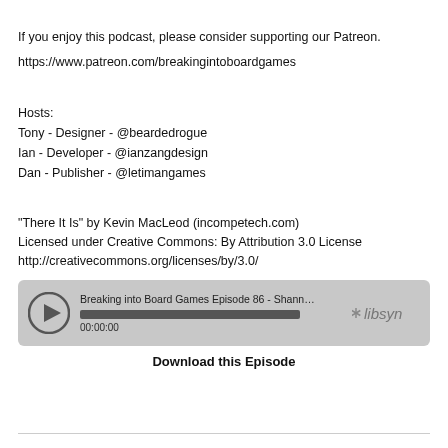If you enjoy this podcast, please consider supporting our Patreon.
https://www.patreon.com/breakingintoboardgames
Hosts:
Tony - Designer - @beardedrogue
Ian - Developer - @ianzangdesign
Dan - Publisher - @letimangames
"There It Is" by Kevin MacLeod (incompetech.com)
Licensed under Creative Commons: By Attribution 3.0 License
http://creativecommons.org/licenses/by/3.0/
[Figure (screenshot): Podcast audio player widget showing episode title 'Breaking into Board Games Episode 86 - Shannon McDow...', a play button, progress bar, timestamp 00:00:00, and libsyn logo]
Download this Episode